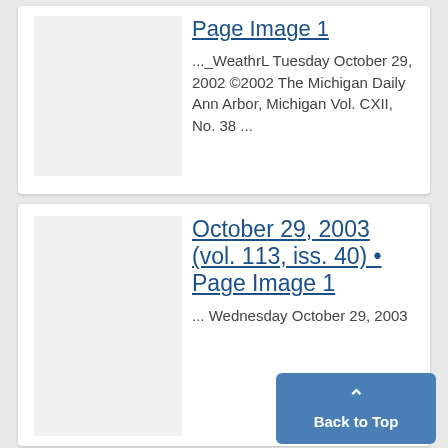Page Image 1
..._WeathrL Tuesday October 29, 2002 ©2002 The Michigan Daily Ann Arbor, Michigan Vol. CXII, No. 38 ...
October 29, 2003 (vol. 113, iss. 40) • Page Image 1
... Wednesday October 29, 2003